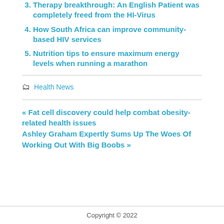Therapy breakthrough: An English Patient was completely freed from the HI-Virus
How South Africa can improve community-based HIV services
Nutrition tips to ensure maximum energy levels when running a marathon
Health News
« Fat cell discovery could help combat obesity-related health issues
Ashley Graham Expertly Sums Up The Woes Of Working Out With Big Boobs »
Copyright © 2022